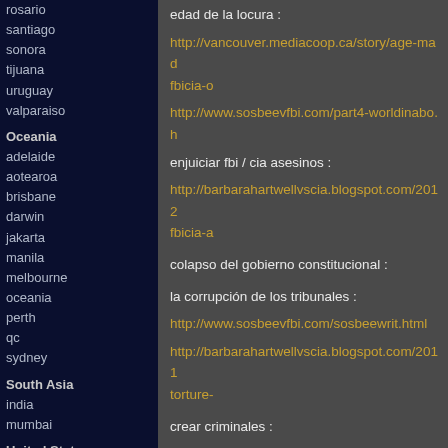rosario
santiago
sonora
tijuana
uruguay
valparaiso
Oceania
adelaide
aotearoa
brisbane
darwin
jakarta
manila
melbourne
oceania
perth
qc
sydney
South Asia
india
mumbai
United States
arizona
arkansas
atlanta
austin
baltimore
binghamton
boston
buffalo
charlottesville
chicago
edad de la locura :
http://vancouver.mediacoop.ca/story/age-mad fbicia-o
http://www.sosbeevfbi.com/part4-worldinabo.h
enjuiciar fbi / cia asesinos :
http://barbarahartwellvscia.blogspot.com/2012 fbicia-a
colapso del gobierno constitucional :
la corrupción de los tribunales :
http://www.sosbeevfbi.com/sosbeewrit.html
http://barbarahartwellvscia.blogspot.com/2011 torture-
crear criminales :